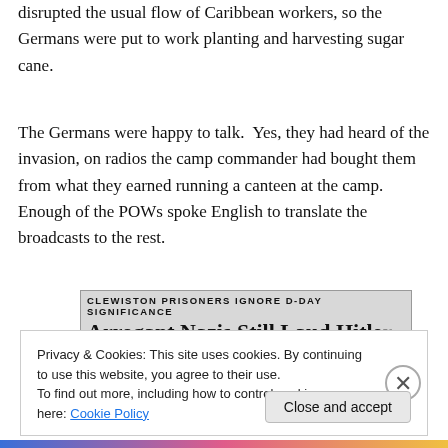disrupted the usual flow of Caribbean workers, so the Germans were put to work planting and harvesting sugar cane.
The Germans were happy to talk.  Yes, they had heard of the invasion, on radios the camp commander had bought them from what they earned running a canteen at the camp.  Enough of the POWs spoke English to translate the broadcasts to the rest.
[Figure (photo): Newspaper clipping with subheading 'CLEWISTON PRISONERS IGNORE D-DAY SIGNIFICANCE' and headline 'Arrogant Nazis Still Laud Hitle' (truncated)]
Privacy & Cookies: This site uses cookies. By continuing to use this website, you agree to their use.
To find out more, including how to control cookies, see here: Cookie Policy